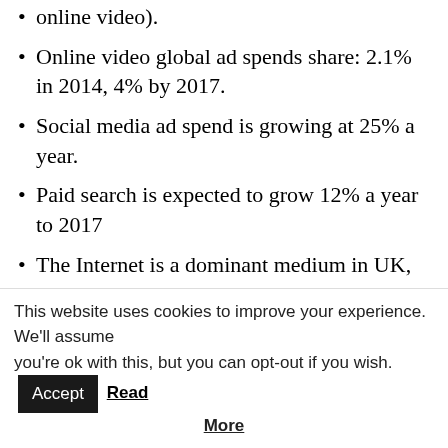online video).
Online video global ad spends share: 2.1% in 2014, 4% by 2017.
Social media ad spend is growing at 25% a year.
Paid search is expected to grow 12% a year to 2017
The Internet is a dominant medium in UK, Australia, Canada, Denmark, Netherlands, Norway, Sweden.
The main driver of internet growth is mobile advertising.
Mobile ad share of the total ad spend will double
This website uses cookies to improve your experience. We'll assume you're ok with this, but you can opt-out if you wish. Accept Read More